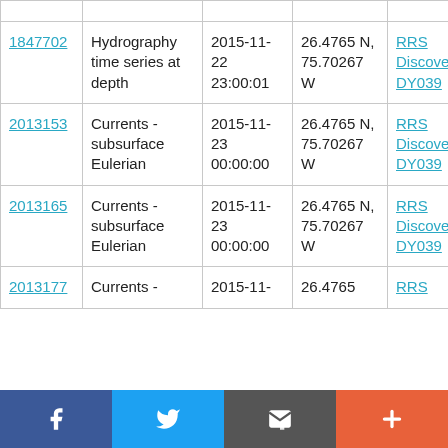| 1847702 | Hydrography time series at depth | 2015-11-22 23:00:01 | 26.4765 N, 75.70267 W | RRS Discovery DY039 |
| 2013153 | Currents - subsurface Eulerian | 2015-11-23 00:00:00 | 26.4765 N, 75.70267 W | RRS Discovery DY039 |
| 2013165 | Currents - subsurface Eulerian | 2015-11-23 00:00:00 | 26.4765 N, 75.70267 W | RRS Discovery DY039 |
| 2013177 | Currents - | 2015-11- | 26.4765 | RRS |